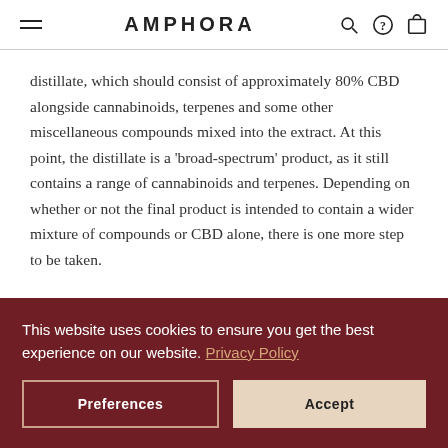AMPHORA
distillate, which should consist of approximately 80% CBD alongside cannabinoids, terpenes and some other miscellaneous compounds mixed into the extract. At this point, the distillate is a ‘broad-spectrum’ product, as it still contains a range of cannabinoids and terpenes. Depending on whether or not the final product is intended to contain a wider mixture of compounds or CBD alone, there is one more step to be taken.
Isolation is done in a similar way so that THC is not it
This website uses cookies to ensure you get the best experience on our website. Privacy Policy
Preferences
Accept